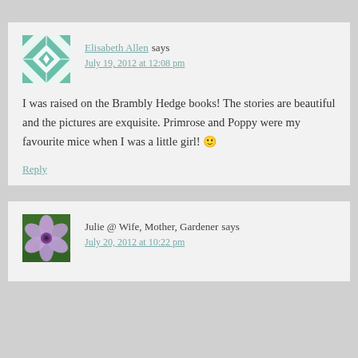[Figure (illustration): Green and white quilt-pattern square avatar for Elisabeth Allen]
Elisabeth Allen says
July 19, 2012 at 12:08 pm
I was raised on the Brambly Hedge books! The stories are beautiful and the pictures are exquisite. Primrose and Poppy were my favourite mice when I was a little girl! 🙂
Reply
[Figure (photo): Purple flower (clematis) photo avatar for Julie @ Wife, Mother, Gardener]
Julie @ Wife, Mother, Gardener says
July 20, 2012 at 10:22 pm